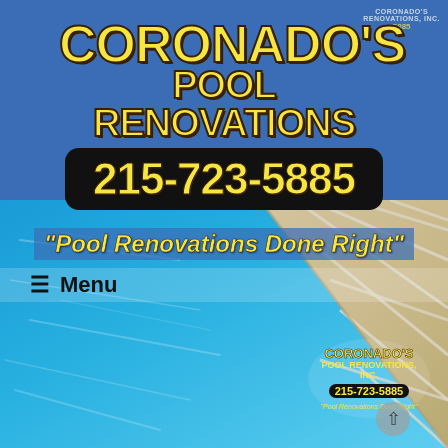[Figure (logo): Coronado's Pool Renovations logo with company name in yellow bold text on blue background, phone number 215-723-5885 in yellow on black pill, tagline 'Pool Renovations Done Right' in yellow italic, small watermark logo top right]
[Figure (photo): Pool renovation photo showing blue swimming pool water on the left and beige/tan travertine tile coping on the right, viewed from above]
≡  Menu
[Figure (logo): Coronado's Pool Renovations, Inc. small logo watermark bottom right with phone 215-723-5885 and tagline]